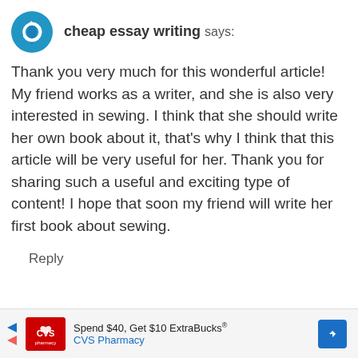cheap essay writing says:
Thank you very much for this wonderful article! My friend works as a writer, and she is also very interested in sewing. I think that she should write her own book about it, that’s why I think that this article will be very useful for her. Thank you for sharing such a useful and exciting type of content! I hope that soon my friend will write her first book about sewing.
Reply
[Figure (infographic): CVS Pharmacy advertisement banner: Spend $40, Get $10 ExtraBucks®. CVS Pharmacy logo in red, navigation arrows, and blue diamond directional sign.]